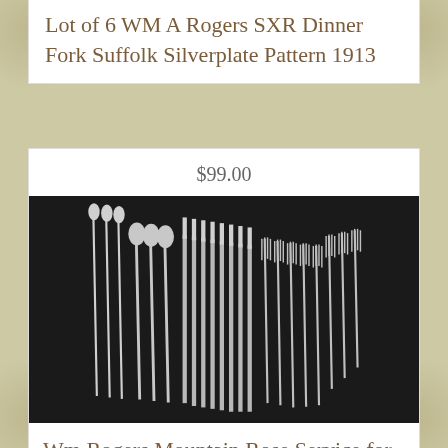Lot of 6 WM A Rogers SXR Dinner Fork Suffolk Silverplate Pattern 1913
$99.00
[Figure (photo): Collection of silverplate flatware pieces fanned out on a dark background, showing spoons, knives, and forks]
Wm Rogers Mountain Rose Service for 8 Silverplate IS Flatware 55 Pieces
$8.99
[Figure (photo): Single silverplate butter knife or spreader on a light background]